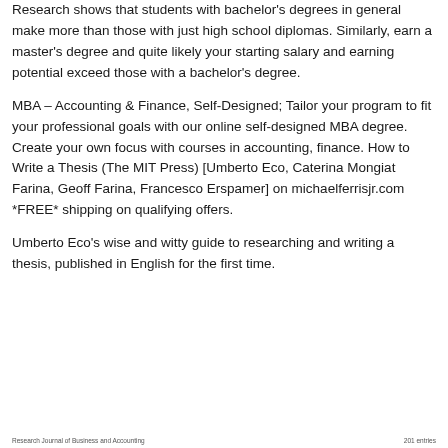Research shows that students with bachelor's degrees in general make more than those with just high school diplomas. Similarly, earn a master's degree and quite likely your starting salary and earning potential exceed those with a bachelor's degree.
MBA – Accounting & Finance, Self-Designed; Tailor your program to fit your professional goals with our online self-designed MBA degree. Create your own focus with courses in accounting, finance. How to Write a Thesis (The MIT Press) [Umberto Eco, Caterina Mongiat Farina, Geoff Farina, Francesco Erspamer] on michaelferrisjr.com *FREE* shipping on qualifying offers.
Umberto Eco's wise and witty guide to researching and writing a thesis, published in English for the first time.
Research Journal of Business and Accounting ... 201 entries